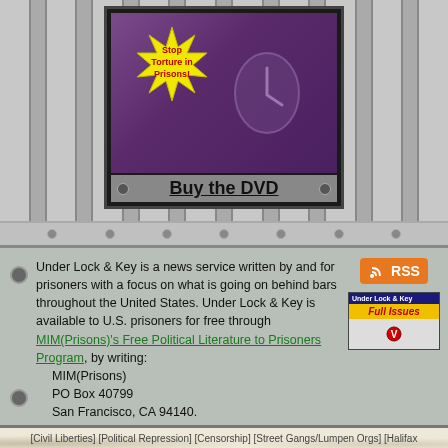[Figure (illustration): DVD box with purple background showing 'Stop Torture in Prisons!' starburst logo, with 'Buy the DVD' caption and metal frame with screws]
Under Lock & Key is a news service written by and for prisoners with a focus on what is going on behind bars throughout the United States. Under Lock & Key is available to U.S. prisoners for free through MIM(Prisons)'s Free Political Literature to Prisoners Program, by writing:
MIM(Prisons)
PO Box 40799
San Francisco, CA 94140.
[Civil Liberties] [Political Repression] [Censorship] [Street Gangs/Lumpen Orgs] [Halifax Correctional Unit] [Virginia] [ULK Issue 72]
On Fascist Censorship of 'The FBI War on Tupac & Black Leaders' in VA Prisons